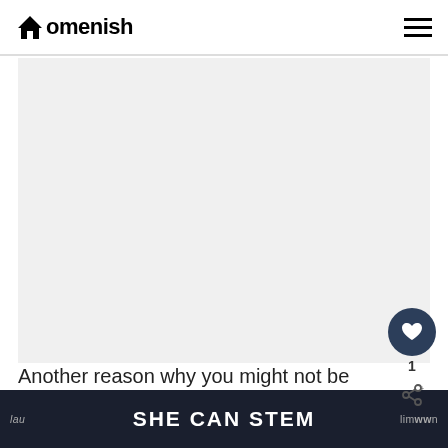Homenish
[Figure (photo): Light gray placeholder image area representing a photo within an article on the Homenish website]
Another reason why you might not be interested in using the door as a sound barrier is if you have a lau
SHE CAN STEM